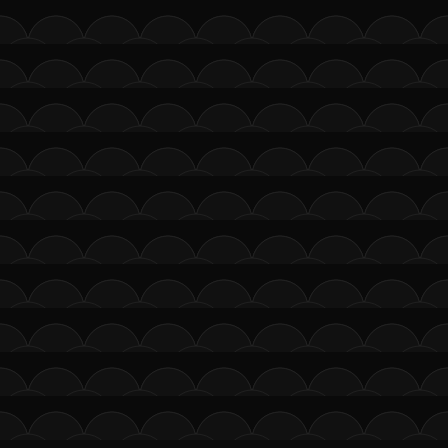[Figure (illustration): A repeating fish scale (scallop) pattern filling the entire page. Dark background (near black) with slightly lighter dark arcs arranged in an overlapping tessellated scale pattern, creating a uniform decorative texture across the full 448x448 area.]